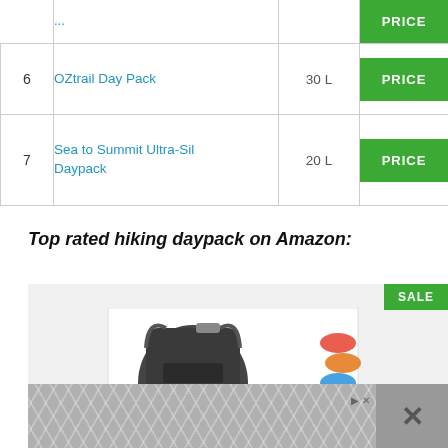| # | Product | Size | Price |
| --- | --- | --- | --- |
| 6 | OZtrail Day Pack | 30 L | PRICE |
| 7 | Sea to Summit Ultra-Sil Daypack | 20 L | PRICE |
Top rated hiking daypack on Amazon:
[Figure (photo): Product image showing a black backpack and colorful carabiner clips, with a SALE badge and advertisement bar at bottom]